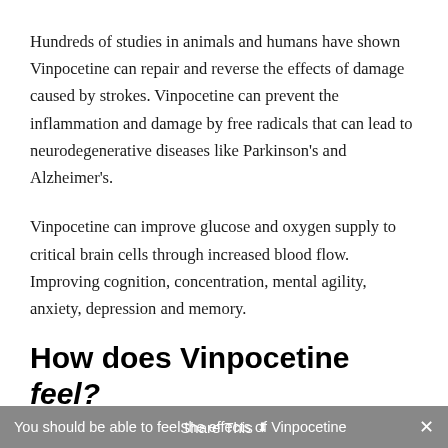Hundreds of studies in animals and humans have shown Vinpocetine can repair and reverse the effects of damage caused by strokes. Vinpocetine can prevent the inflammation and damage by free radicals that can lead to neurodegenerative diseases like Parkinson's and Alzheimer's.
Vinpocetine can improve glucose and oxygen supply to critical brain cells through increased blood flow. Improving cognition, concentration, mental agility, anxiety, depression and memory.
How does Vinpocetine feel?
You should be able to feel the effects of Vinpocetine